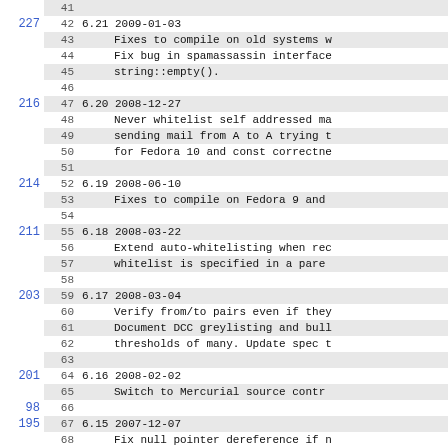| num | line | code |
| --- | --- | --- |
|  | 41 |  |
| 227 | 42 | 6.21 2009-01-03 |
|  | 43 |     Fixes to compile on old systems w |
|  | 44 |     Fix bug in spamassassin interface |
|  | 45 |     string::empty(). |
|  | 46 |  |
| 216 | 47 | 6.20 2008-12-27 |
|  | 48 |     Never whitelist self addressed ma |
|  | 49 |     sending mail from A to A trying t |
|  | 50 |     for Fedora 10 and const correctne |
|  | 51 |  |
| 214 | 52 | 6.19 2008-06-10 |
|  | 53 |     Fixes to compile on Fedora 9 and |
|  | 54 |  |
| 211 | 55 | 6.18 2008-03-22 |
|  | 56 |     Extend auto-whitelisting when rec |
|  | 57 |     whitelist is specified in a pare |
|  | 58 |  |
| 203 | 59 | 6.17 2008-03-04 |
|  | 60 |     Verify from/to pairs even if they |
|  | 61 |     Document DCC greylisting and bull |
|  | 62 |     thresholds of many. Update spec t |
|  | 63 |  |
| 201 | 64 | 6.16 2008-02-02 |
|  | 65 |     Switch to Mercurial source contr |
| 98 | 66 |  |
| 195 | 67 | 6.15 2007-12-07 |
|  | 68 |     Fix null pointer dereference if n |
|  | 69 |     Default sendmail config passes th |
|  | 70 |  |
| 192 | 71 | 6.14 2007-11-11 |
|  | 72 |     Delay auto whitelisting until we |
|  | 73 |     auto whitelisting due to bulk ou |